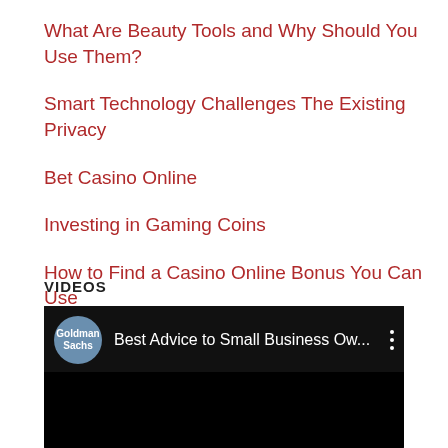What Are Beauty Tools and Why Should You Use Them?
Smart Technology Challenges The Existing Privacy
Bet Casino Online
Investing in Gaming Coins
How to Find a Casino Online Bonus You Can Use
VIDEOS
[Figure (screenshot): YouTube video thumbnail showing Goldman Sachs logo and title 'Best Advice to Small Business Ow...' on a black background]